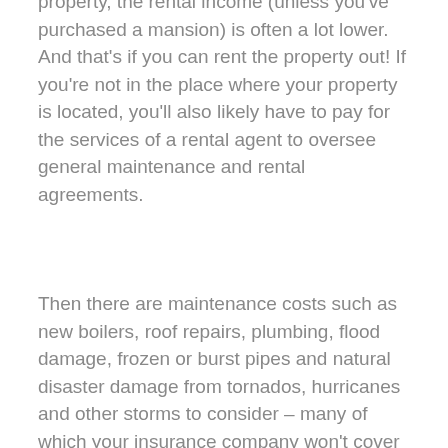property, the rental income (unless you've purchased a mansion) is often a lot lower. And that's if you can rent the property out! If you're not in the place where your property is located, you'll also likely have to pay for the services of a rental agent to oversee general maintenance and rental agreements.
Then there are maintenance costs such as new boilers, roof repairs, plumbing, flood damage, frozen or burst pipes and natural disaster damage from tornados, hurricanes and other storms to consider – many of which your insurance company won't cover you for, claiming such disasters to be an act of God.
Even a new boiler can cost in the region of £5k to